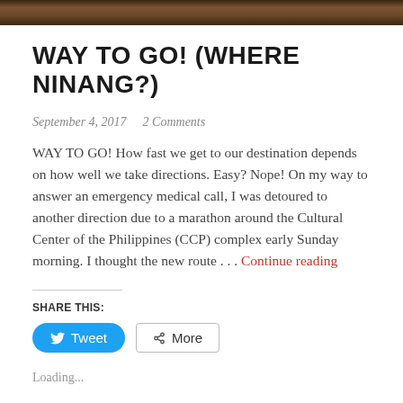[decorative wood texture header image]
WAY TO GO! (WHERE NINANG?)
September 4, 2017   2 Comments
WAY TO GO! How fast we get to our destination depends on how well we take directions. Easy? Nope! On my way to answer an emergency medical call, I was detoured to another direction due to a marathon around the Cultural Center of the Philippines (CCP) complex early Sunday morning. I thought the new route . . . Continue reading
SHARE THIS:
Tweet   More
Loading...